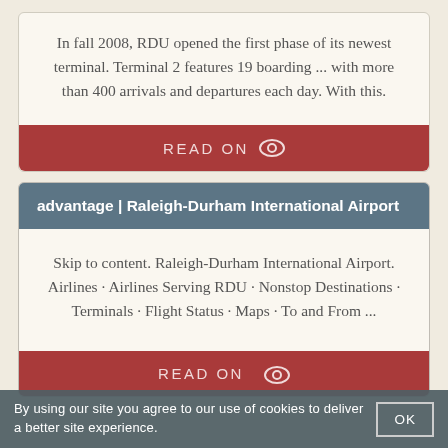In fall 2008, RDU opened the first phase of its newest terminal. Terminal 2 features 19 boarding ... with more than 400 arrivals and departures each day. With this.
READ ON
advantage | Raleigh-Durham International Airport
Skip to content. Raleigh-Durham International Airport. Airlines · Airlines Serving RDU · Nonstop Destinations · Terminals · Flight Status · Maps · To and From ...
READ ON
By using our site you agree to our use of cookies to deliver a better site experience.